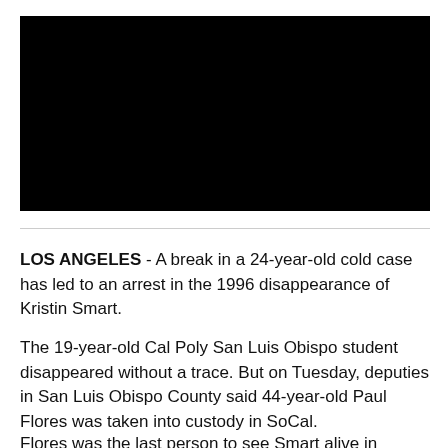[Figure (photo): Black rectangular image placeholder, fully black background, occupying the top portion of the page.]
LOS ANGELES - A break in a 24-year-old cold case has led to an arrest in the 1996 disappearance of Kristin Smart.
The 19-year-old Cal Poly San Luis Obispo student disappeared without a trace. But on Tuesday, deputies in San Luis Obispo County said 44-year-old Paul Flores was taken into custody in SoCal.
Flores was the last person to see Smart alive in 1996...